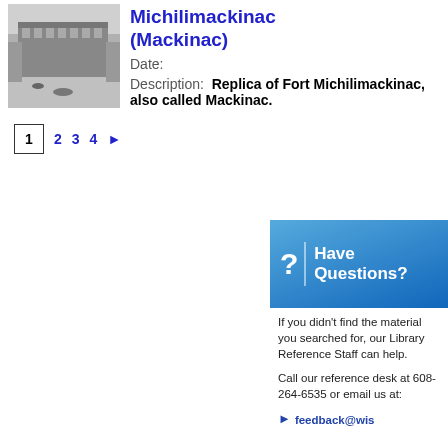[Figure (photo): Aerial or perspective view of Fort Michilimackinac replica, black and white historic photograph]
Michilimackinac (Mackinac)
Date:
Description: Replica of Fort Michilimackinac, also called Mackinac.
1 2 3 4 ▶
Have Questions?
If you didn't find the material you searched for, our Library Reference Staff can help.
Call our reference desk at 608-264-6535 or email us at:
feedback@wis